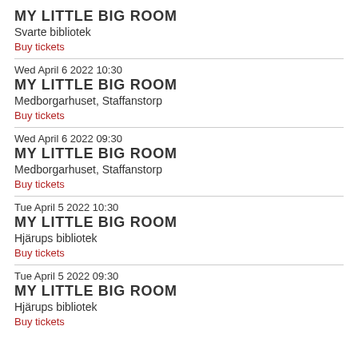MY LITTLE BIG ROOM
Svarte bibliotek
Buy tickets
Wed April 6 2022 10:30
MY LITTLE BIG ROOM
Medborgarhuset, Staffanstorp
Buy tickets
Wed April 6 2022 09:30
MY LITTLE BIG ROOM
Medborgarhuset, Staffanstorp
Buy tickets
Tue April 5 2022 10:30
MY LITTLE BIG ROOM
Hjärups bibliotek
Buy tickets
Tue April 5 2022 09:30
MY LITTLE BIG ROOM
Hjärups bibliotek
Buy tickets